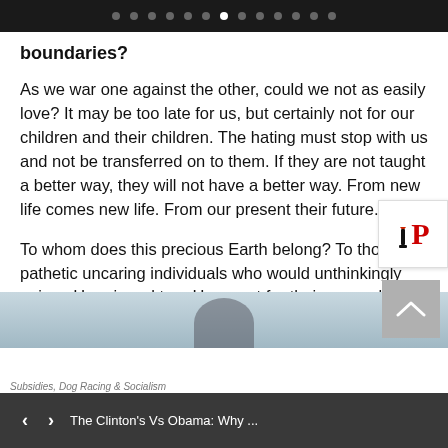• • • • • • • (active) • • • • • •
boundaries?
As we war one against the other, could we not as easily love? It may be too late for us, but certainly not for our children and their children. The hating must stop with us and not be transferred on to them. If they are not taught a better way, they will not have a better way. From new life comes new life. From our present their future.
To whom does this precious Earth belong? To those few pathetic uncaring individuals who would unthinkingly poison Her air and tear Her apart for their own selfish gains, or to the many individuals who would preserve Her for future generations?
Subsidies, Dog Racing & Socialism    ‹  ›    The Clinton's Vs Obama: Why ...